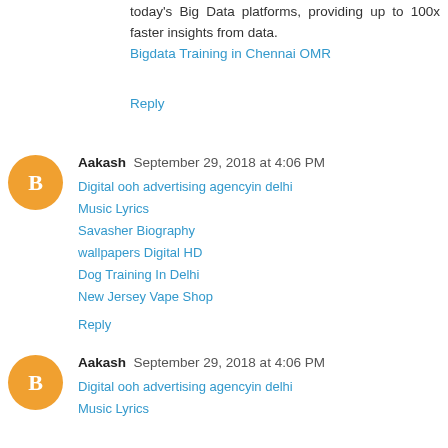today's Big Data platforms, providing up to 100x faster insights from data.
Bigdata Training in Chennai OMR
Reply
Aakash September 29, 2018 at 4:06 PM
Digital ooh advertising agencyin delhi
Music Lyrics
Savasher Biography
wallpapers Digital HD
Dog Training In Delhi
New Jersey Vape Shop
Reply
Aakash September 29, 2018 at 4:06 PM
Digital ooh advertising agencyin delhi
Music Lyrics